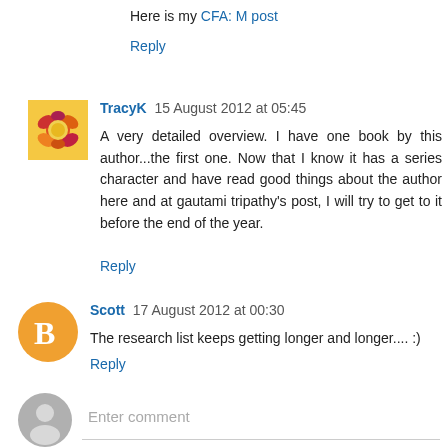Here is my CFA: M post
Reply
TracyK  15 August 2012 at 05:45
A very detailed overview. I have one book by this author...the first one. Now that I know it has a series character and have read good things about the author here and at gautami tripathy's post, I will try to get to it before the end of the year.
Reply
Scott  17 August 2012 at 00:30
The research list keeps getting longer and longer.... :)
Reply
Enter comment